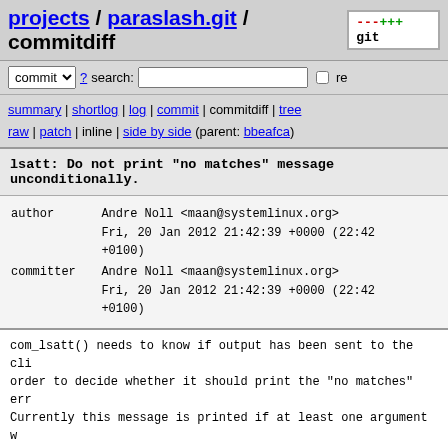projects / paraslash.git / commitdiff
commit ▾ ? search: □ re
summary | shortlog | log | commit | commitdiff | tree
raw | patch | inline | side by side (parent: bbeafca)
lsatt: Do not print "no matches" message unconditionally.
author    Andre Noll <maan@systemlinux.org>
          Fri, 20 Jan 2012 21:42:39 +0000 (22:42 +0100)
committer Andre Noll <maan@systemlinux.org>
          Fri, 20 Jan 2012 21:42:39 +0000 (22:42 +0100)
com_lsatt() needs to know if output has been sent to the cli order to decide whether it should print the "no matches" err Currently this message is printed if at least one argument w and send_callback_request() returned zero.
However, send_callback_request() returns zero on success and on errors. Hence, if at least one argument was given, the en message is printed regardless of whether there was a match.
Fix this bug by changing send_callback_request() to return t of received shared memory areas on success.